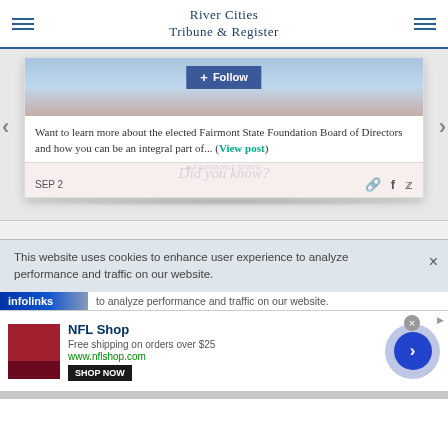River Cities Tribune & Register
[Figure (screenshot): Social media widget card showing a Facebook Follow button over a building image, with text about Fairmont State Foundation Board of Directors, navigation arrows, date SEP 2, and share icons]
Want to learn more about the elected Fairmont State Foundation Board of Directors and how you can be an integral part of... (View post)
This website uses cookies to enhance user experience to analyze performance and traffic on our website.
[Figure (infographic): Infolinks advertisement banner with NFL Shop ad showing red clothing, Free shipping on orders over $25, www.nflshop.com, SHOP NOW button, and a blue circle arrow button]